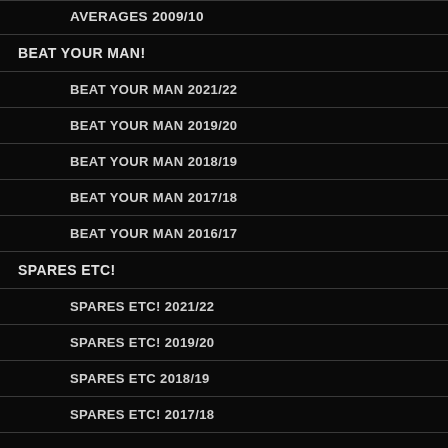AVERAGES 2009/10
BEAT YOUR MAN!
BEAT YOUR MAN 2021/22
BEAT YOUR MAN 2019/20
BEAT YOUR MAN 2018/19
BEAT YOUR MAN 2017/18
BEAT YOUR MAN 2016/17
SPARES ETC!
SPARES ETC! 2021/22
SPARES ETC! 2019/20
SPARES ETC 2018/19
SPARES ETC! 2017/18